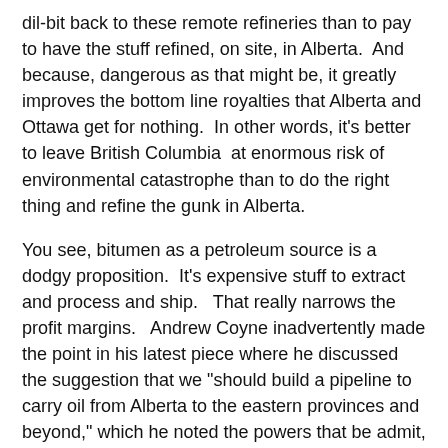dil-bit back to these remote refineries than to pay to have the stuff refined, on site, in Alberta.  And because, dangerous as that might be, it greatly improves the bottom line royalties that Alberta and Ottawa get for nothing.  In other words, it's better to leave British Columbia  at enormous risk of environmental catastrophe than to do the right thing and refine the gunk in Alberta.
You see, bitumen as a petroleum source is a dodgy proposition.  It's expensive stuff to extract and process and ship.   That really narrows the profit margins.   Andrew Coyne inadvertently made the point in his latest piece where he discussed the suggestion that we "should build a pipeline to carry oil from Alberta to the eastern provinces and beyond," which he noted the powers that be admit, "the economic case isn't there."
In other words it's not economical to ship Alberta sludge east.   That's a losing proposition.   But it is economical, profitable, to send it to tankers at docks on the B.C. coast.  Yet that too is only profitable if you don't have to carry the cost of British Columbia's environmental risks on your